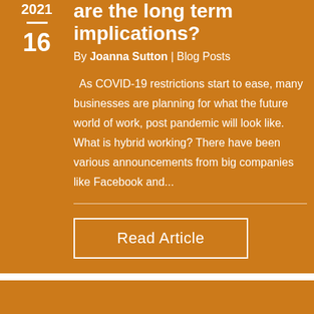2021
16
are the long term implications?
By Joanna Sutton | Blog Posts
As COVID-19 restrictions start to ease, many businesses are planning for what the future world of work, post pandemic will look like. What is hybrid working? There have been various announcements from big companies like Facebook and...
Read Article